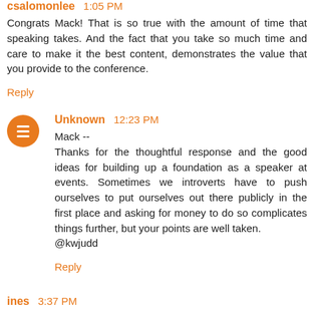csalomonlee 1:05 PM
Congrats Mack! That is so true with the amount of time that speaking takes. And the fact that you take so much time and care to make it the best content, demonstrates the value that you provide to the conference.
Reply
Unknown 12:23 PM
Mack --
Thanks for the thoughtful response and the good ideas for building up a foundation as a speaker at events. Sometimes we introverts have to push ourselves to put ourselves out there publicly in the first place and asking for money to do so complicates things further, but your points are well taken.
@kwjudd
Reply
ines 3:37 PM